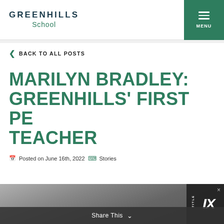GREENHILLS School
BACK TO ALL POSTS
MARILYN BRADLEY: GREENHILLS' FIRST PE TEACHER
Posted on June 16th, 2022  Stories
[Figure (photo): Black and white photograph at the bottom of the page with a Title IX badge overlay in the lower right corner]
Share This